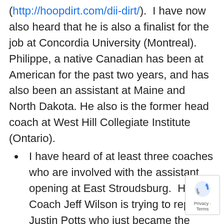(http://hoopdirt.com/dii-dirt/).  I have now also heard that he is also a finalist for the job at Concordia University (Montreal).  Philippe, a native Canadian has been at American for the past two years, and has also been an assistant at Maine and North Dakota. He also is the former head coach at West Hill Collegiate Institute (Ontario).
I have heard of at least three coaches who are involved with the assistant opening at East Stroudsburg.  Head Coach Jeff Wilson is trying to replace Justin Potts who just became the head coach at Moravian a few weeks ago.